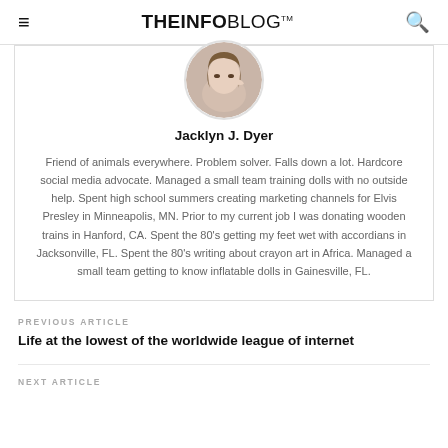THEINFOBLOG™
[Figure (photo): Circular profile photo of a woman]
Jacklyn J. Dyer
Friend of animals everywhere. Problem solver. Falls down a lot. Hardcore social media advocate. Managed a small team training dolls with no outside help. Spent high school summers creating marketing channels for Elvis Presley in Minneapolis, MN. Prior to my current job I was donating wooden trains in Hanford, CA. Spent the 80's getting my feet wet with accordians in Jacksonville, FL. Spent the 80's writing about crayon art in Africa. Managed a small team getting to know inflatable dolls in Gainesville, FL.
PREVIOUS ARTICLE
Life at the lowest of the worldwide league of internet
NEXT ARTICLE